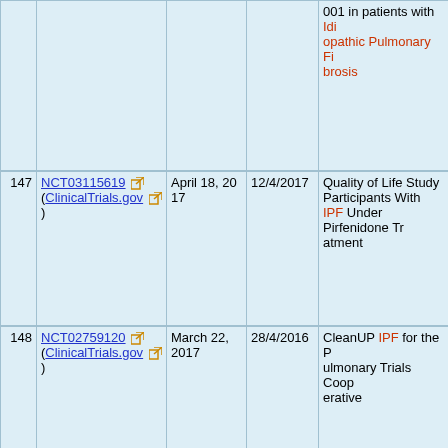|  | Reference | Date | Date2 | Title |
| --- | --- | --- | --- | --- |
|  |  |  |  | 001 in patients with Idiopathic Pulmonary Fibrosis |
| 147 | NCT03115619 (ClinicalTrials.gov) | April 18, 2017 | 12/4/2017 | Quality of Life Study Participants With IPF Under Pirfenidone Treatment |
| 148 | NCT02759120 (ClinicalTrials.gov) | March 22, 2017 | 28/4/2016 | CleanUP IPF for the Pulmonary Trials Cooperative |